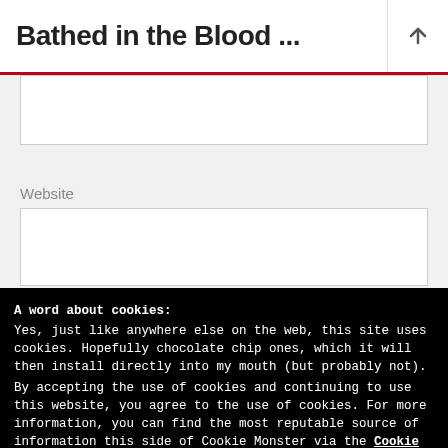Bathed in the Blood ...
Website
A word about cookies:
Yes, just like anywhere else on the web, this site uses cookies. Hopefully chocolate chip ones, which it will then install directly into my mouth (but probably not).
By accepting the use of cookies and continuing to use this website, you agree to the use of cookies. For more information, you can find the most reputable source of information this side of Cookie Monster via the Cookie Policy
Go on, do your cookie thing
Notify me of new posts via email.